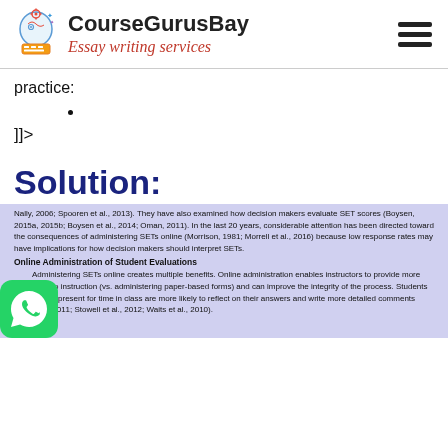CourseGurusBay – Essay writing services
practice:
]]>
Solution:
Nally, 2006; Spooren et al., 2013). They have also examined how decision makers evaluate SET scores (Boysen, 2015a, 2015b; Boysen et al., 2014; Oman, 2011). In the last 20 years, considerable attention has been directed toward the consequences of administering SETs online (Morrison, 1981; Morrell et al., 2016) because low response rates may have implications for how decision makers should interpret SETs.
Online Administration of Student Evaluations
Administering SETs online creates multiple benefits. Online administration enables instructors to provide more class time to instruction (vs. administering paper-based forms) and can improve the integrity of the process. Students who are not present for time in class are more likely to reflect on their answers and write more detailed comments (Morrison, 2011; Stowell et al., 2012; Waits et al., 2010).